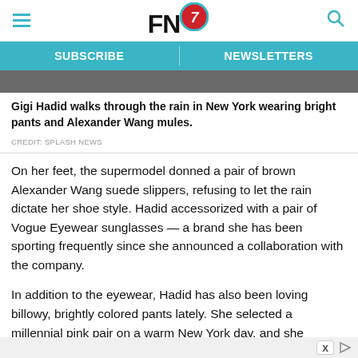FN7 — SUBSCRIBE | NEWSLETTERS
Gigi Hadid walks through the rain in New York wearing bright pants and Alexander Wang mules.
CREDIT: SPLASH NEWS
On her feet, the supermodel donned a pair of brown Alexander Wang suede slippers, refusing to let the rain dictate her shoe style. Hadid accessorized with a pair of Vogue Eyewear sunglasses — a brand she has been sporting frequently since she announced a collaboration with the company.
In addition to the eyewear, Hadid has also been loving billowy, brightly colored pants lately. She selected a millennial pink pair on a warm New York day, and she